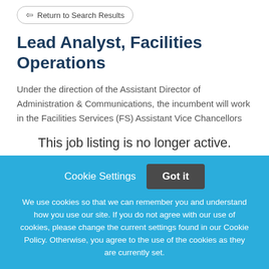Return to Search Results
Lead Analyst, Facilities Operations
Under the direction of the Assistant Director of Administration & Communications, the incumbent will work in the Facilities Services (FS) Assistant Vice Chancellors (AVC) Immediate Office and serve as the Lead
This job listing is no longer active.
Cookie Settings
Got it
We use cookies so that we can remember you and understand how you use our site. If you do not agree with our use of cookies, please change the current settings found in our Cookie Policy. Otherwise, you agree to the use of the cookies as they are currently set.